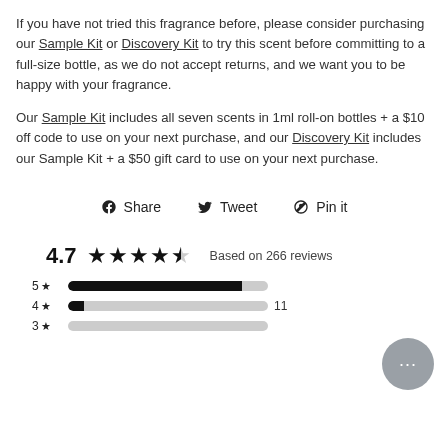If you have not tried this fragrance before, please consider purchasing our Sample Kit or Discovery Kit to try this scent before committing to a full-size bottle, as we do not accept returns, and we want you to be happy with your fragrance.
Our Sample Kit includes all seven scents in 1ml roll-on bottles + a $10 off code to use on your next purchase, and our Discovery Kit includes our Sample Kit + a $50 gift card to use on your next purchase.
Share  Tweet  Pin it
4.7 ★★★★★ Based on 266 reviews
5 ★ [bar]
4 ★ [bar] 11
3 ★